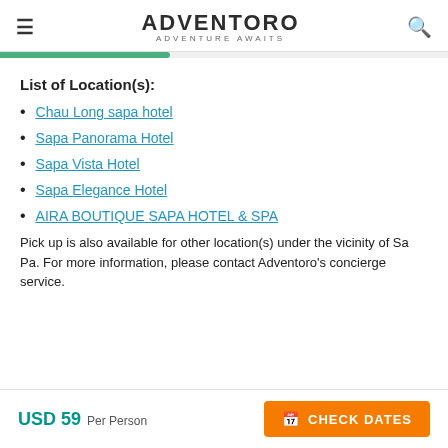ADVENTORO — ADVENTURE AWAITS
List of Location(s):
Chau Long sapa hotel
Sapa Panorama Hotel
Sapa Vista Hotel
Sapa Elegance Hotel
AIRA BOUTIQUE SAPA HOTEL & SPA
Pick up is also available for other location(s) under the vicinity of Sa Pa. For more information, please contact Adventoro's concierge service.
USD 59 Per Person | CHECK DATES